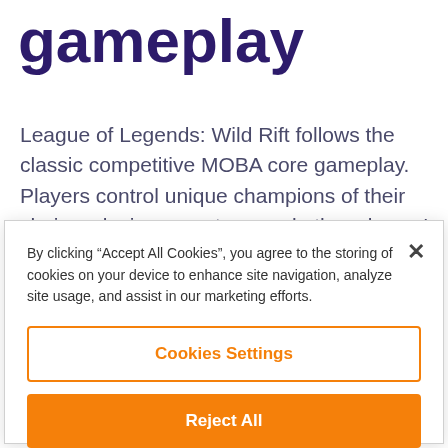gameplay
League of Legends: Wild Rift follows the classic competitive MOBA core gameplay. Players control unique champions of their choice, slaying monsters, and other players' champions to get stronger whilst
By clicking “Accept All Cookies”, you agree to the storing of cookies on your device to enhance site navigation, analyze site usage, and assist in our marketing efforts.
Cookies Settings
Reject All
Accept All Cookies